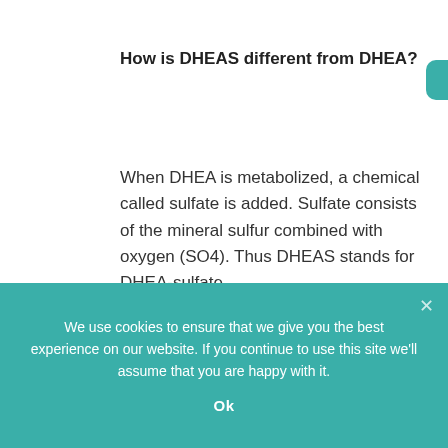How is DHEAS different from DHEA?
When DHEA is metabolized, a chemical called sulfate is added. Sulfate consists of the mineral sulfur combined with oxygen (SO4). Thus DHEAS stands for DHEA-sulfate.
DHEA is mostly made in the morning hours.
We use cookies to ensure that we give you the best experience on our website. If you continue to use this site we'll assume that you are happy with it.
Ok